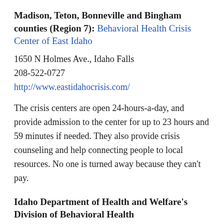Madison, Teton, Bonneville and Bingham counties (Region 7): Behavioral Health Crisis Center of East Idaho
1650 N Holmes Ave., Idaho Falls
208-522-0727
http://www.eastidahocrisis.com/
The crisis centers are open 24-hours-a-day, and provide admission to the center for up to 23 hours and 59 minutes if needed. They also provide crisis counseling and help connecting people to local resources. No one is turned away because they can't pay.
Idaho Department of Health and Welfare's Division of Behavioral Health